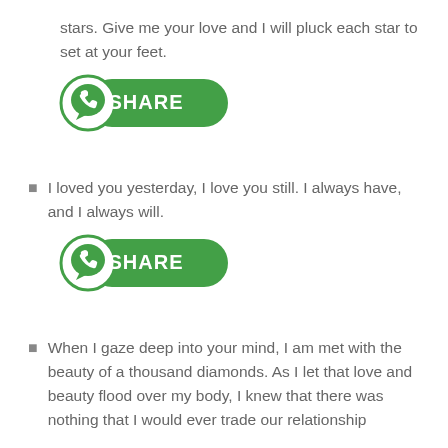stars. Give me your love and I will pluck each star to set at your feet.
[Figure (other): WhatsApp SHARE button]
I loved you yesterday, I love you still. I always have, and I always will.
[Figure (other): WhatsApp SHARE button]
When I gaze deep into your mind, I am met with the beauty of a thousand diamonds. As I let that love and beauty flood over my body, I knew that there was nothing that I would ever trade our relationship